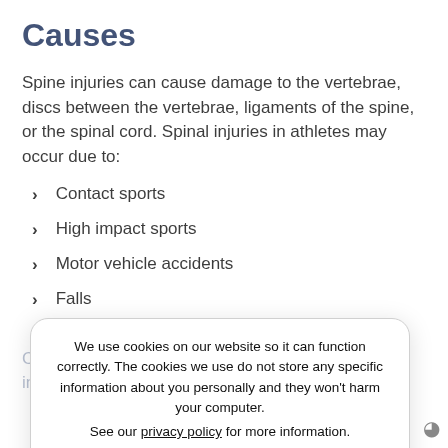Causes
Spine injuries can cause damage to the vertebrae, discs between the vertebrae, ligaments of the spine, or the spinal cord. Spinal injuries in athletes may occur due to:
Contact sports
High impact sports
Motor vehicle accidents
Falls
Shallow water diving activities
Common spinal injuries that athletes may suffer include:
Sprains and strains
Fractured vertebrae
We use cookies on our website so it can function correctly. The cookies we use do not store any specific information about you personally and they won't harm your computer.
See our privacy policy for more information.